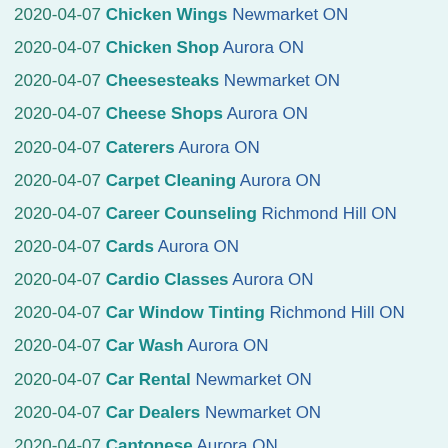2020-04-07 Chicken Wings Newmarket ON
2020-04-07 Chicken Shop Aurora ON
2020-04-07 Cheesesteaks Newmarket ON
2020-04-07 Cheese Shops Aurora ON
2020-04-07 Caterers Aurora ON
2020-04-07 Carpet Cleaning Aurora ON
2020-04-07 Career Counseling Richmond Hill ON
2020-04-07 Cards Aurora ON
2020-04-07 Cardio Classes Aurora ON
2020-04-07 Car Window Tinting Richmond Hill ON
2020-04-07 Car Wash Aurora ON
2020-04-07 Car Rental Newmarket ON
2020-04-07 Car Dealers Newmarket ON
2020-04-07 Cantonese Aurora ON
2020-04-07 Candle Stores Newmarket ON
2020-04-07 Canadian (New) Aurora ON
2020-04-07 Cambodian Newmarket ON
2020-04-07 Cajun/Creole Aurora ON
2020-04-07 Cafes Aurora ON
2020-04-07 Cabinetry Richmond Hill ON
2020-04-07 Business Law Newmarket ON
2020-04-07 Business Consulting Richmond Hill ON
2020-04-07 Business Aurora ON